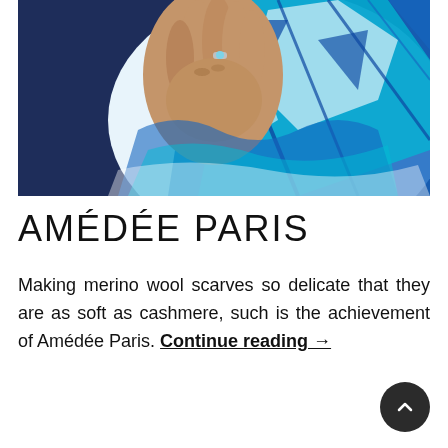[Figure (photo): Close-up photo of a person wearing a blue blazer and holding a blue, white, and teal geometric patterned silk scarf. The person is wearing a blue gemstone ring on one finger.]
AMÉDÉE PARIS
Making merino wool scarves so delicate that they are as soft as cashmere, such is the achievement of Amédée Paris. Continue reading →